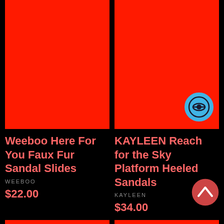[Figure (photo): Red product image for Weeboo Here For You Faux Fur Sandal Slides]
[Figure (photo): Red product image for KAYLEEN Reach for the Sky Platform Heeled Sandals with a blue eye icon badge]
Weeboo Here For You Faux Fur Sandal Slides
WEEBOO
$22.00
KAYLEEN Reach for the Sky Platform Heeled Sandals
KAYLEEN
$34.00